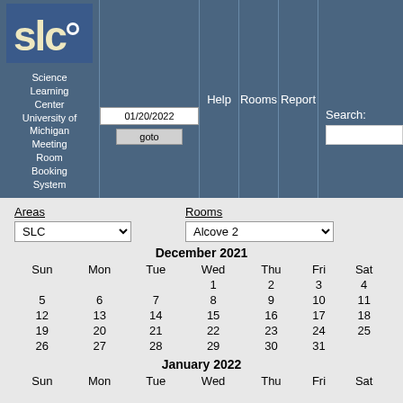[Figure (logo): SLC logo - blue circular logo with letters SLC]
Science Learning Center University of Michigan Meeting Room Booking System
01/20/2022
goto
Help
Rooms
Report
Search:
Areas
SLC
Rooms
Alcove 2
December 2021
| Sun | Mon | Tue | Wed | Thu | Fri | Sat |
| --- | --- | --- | --- | --- | --- | --- |
|  |  |  | 1 | 2 | 3 | 4 |
| 5 | 6 | 7 | 8 | 9 | 10 | 11 |
| 12 | 13 | 14 | 15 | 16 | 17 | 18 |
| 19 | 20 | 21 | 22 | 23 | 24 | 25 |
| 26 | 27 | 28 | 29 | 30 | 31 |  |
January 2022
| Sun | Mon | Tue | Wed | Thu | Fri | Sat |
| --- | --- | --- | --- | --- | --- | --- |